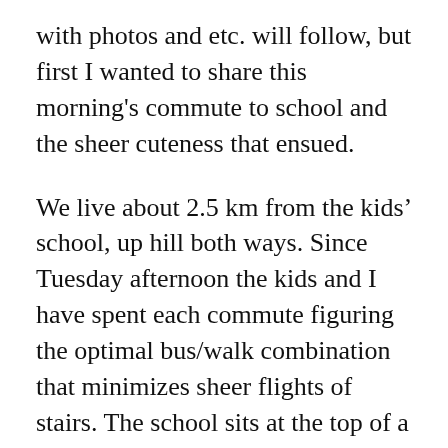with photos and etc. will follow, but first I wanted to share this morning's commute to school and the sheer cuteness that ensued.
We live about 2.5 km from the kids' school, up hill both ways. Since Tuesday afternoon the kids and I have spent each commute figuring the optimal bus/walk combination that minimizes sheer flights of stairs. The school sits at the top of a bluff, called–perhaps a bit unoriginally–The Bluff by local expats. Today's morning route included a 15-minute walk to the not-quite-nearest train station, followed by a bus ride that climbed The Bluff and dropped us off right at the school. F...